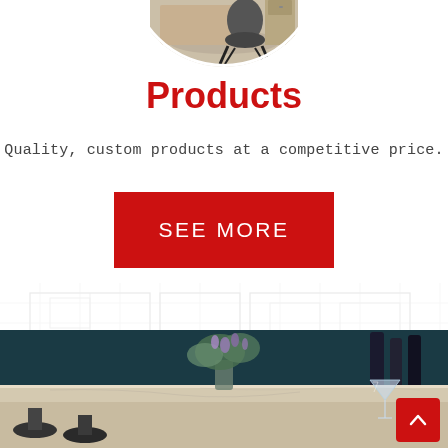[Figure (photo): Circular cropped photo of an office with a desk, chair, and cabinetry, partially visible at the top of the page]
Products
Quality, custom products at a competitive price.
[Figure (other): Red rectangular button labeled SEE MORE]
[Figure (photo): Background with light blueprint/architectural drawing overlay, and foreground photo of a bar counter with stools, floral arrangement, and martini glass on a marble-looking surface with teal wall behind]